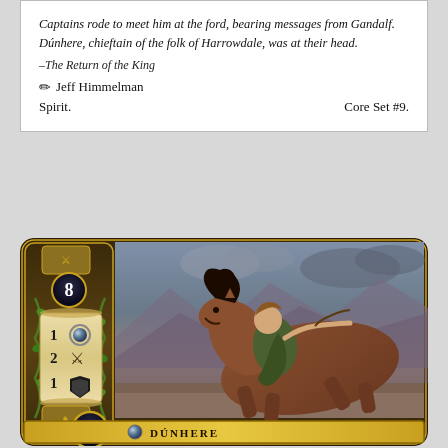Captains rode to meet him at the ford, bearing messages from Gandalf. Dúnhere, chieftain of the folk of Harrowdale, was at their head.
–The Return of the King
✏ Jeff Himmelman
Spirit.                                                Core Set #9.
[Figure (illustration): Fantasy card game card showing Dúnhere, a rider on horseback charging forward, with stat numbers: cost 8, willpower 1, attack 2, defense 1, threat 4. Decorative golden border with ornamental left column showing a scroll with stats.]